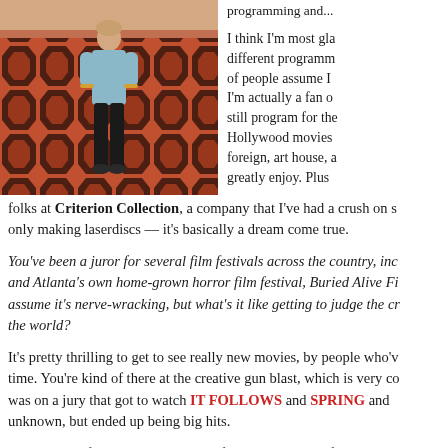[Figure (photo): Person standing on the iconic hexagonal carpet from The Shining at the Stanley Hotel or similar location. The carpet has a bold red and dark brown/black geometric hexagonal pattern. The person is wearing a light blue top and black pants.]
programming and...
I think I'm most glad being able to program different programming... of people assume I... I'm actually a fan of... still program for the... Hollywood movies... foreign, art house, a... greatly enjoy. Plus folks at Criterion Collection, a company that I've had a crush on since they were only making laserdiscs — it's basically a dream come true.
You've been a juror for several film festivals across the country, inc... and Atlanta's own home-grown horror film festival, Buried Alive Fi... assume it's nerve-wracking, but what's it like getting to judge the cr... the world?
It's pretty thrilling to get to see really new movies, by people who've... time. You're kind of there at the creative gun blast, which is very co... was on a jury that got to watch IT FOLLOWS and SPRING and... unknown, but ended up being big hits.
What is your favorite American cult film? Foreign cult film? Favori...